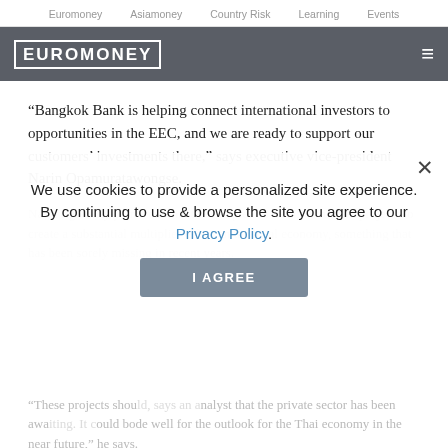Euromoney   Asiamoney   Country Risk   Learning   Events
EUROMONEY
“Bangkok Bank is helping connect international investors to opportunities in the EEC, and we are ready to support our customers’ investments there,” says executive vice-president Narin Opamuratawongse.
Narin rightfully points out that the completion of infrastructure projects to create a substantial multiplier effect on the local economy, something that has been sorely missing in recent years.
We use cookies to provide a personalized site experience.
By continuing to use & browse the site you agree to our Privacy Policy.
“These projects should, says an analyst that the private sector has been awaiting. It could bode well for the outlook for the Thai economy in the near future,” he says.